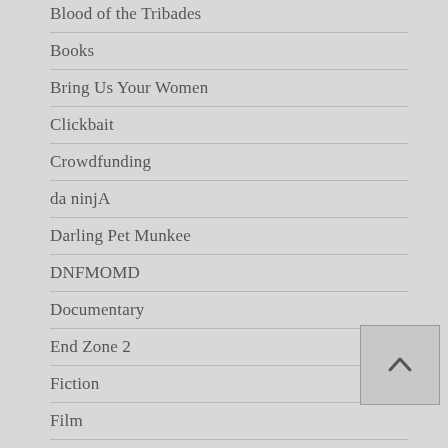Blood of the Tribades
Books
Bring Us Your Women
Clickbait
Crowdfunding
da ninjA
Darling Pet Munkee
DNFMOMD
Documentary
End Zone 2
Fiction
Film
Film Fests